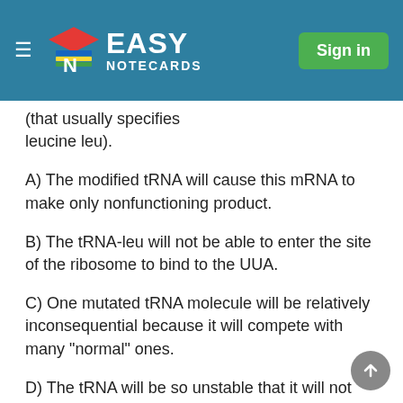Easy Notecards — Sign in
(that usually specifies leucine leu).
A) The modified tRNA will cause this mRNA to make only nonfunctioning product.
B) The tRNA-leu will not be able to enter the site of the ribosome to bind to the UUA.
C) One mutated tRNA molecule will be relatively inconsequential because it will compete with many "normal" ones.
D) The tRNA will be so unstable that it will not